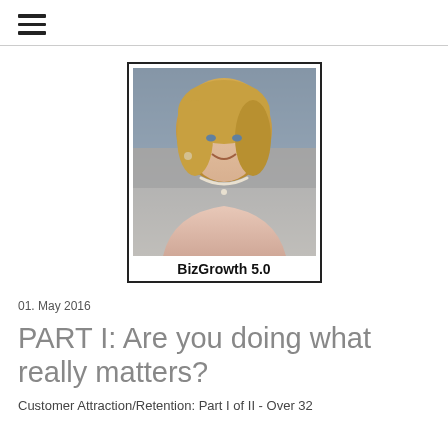≡ (hamburger menu icon)
[Figure (photo): Portrait photo of a smiling blonde woman in a pink blazer with pearl necklace, framed with a border, labeled BizGrowth 5.0]
BizGrowth 5.0
01. May 2016
PART I: Are you doing what really matters?
Customer Attraction/Retention: Part I of II - Over 32